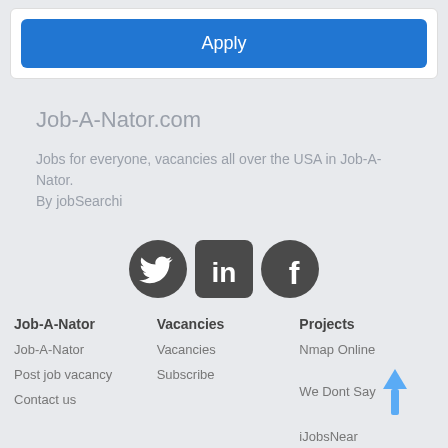Apply
Job-A-Nator.com
Jobs for everyone, vacancies all over the USA in Job-A-Nator. By jobSearchi
[Figure (illustration): Social media icons: Twitter, LinkedIn, Facebook]
Job-A-Nator
Job-A-Nator
Post job vacancy
Contact us
Vacancies
Vacancies
Subscribe
Projects
Nmap Online
We Dont Say
iJobsNear
jobStinger